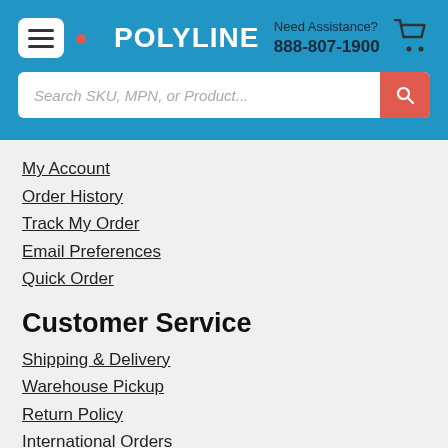POLYLINE | Need Assistance? 888-807-1900
My Account
Order History
Track My Order
Email Preferences
Quick Order
Customer Service
Shipping & Delivery
Warehouse Pickup
Return Policy
International Orders
Contact Us